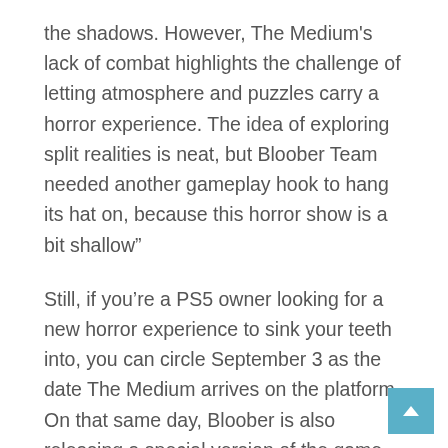the shadows. However, The Medium's lack of combat highlights the challenge of letting atmosphere and puzzles carry a horror experience. The idea of exploring split realities is neat, but Bloober Team needed another gameplay hook to hang its hat on, because this horror show is a bit shallow”
Still, if you’re a PS5 owner looking for a new horror experience to sink your teeth into, you can circle September 3 as the date The Medium arrives on the platform. On that same day, Bloober is also releasing a special version of the game called The Medium: Two Worlds Special Edition. The physical bundle comes packaged in a steelbook case and includes an artbook and soundtrack.